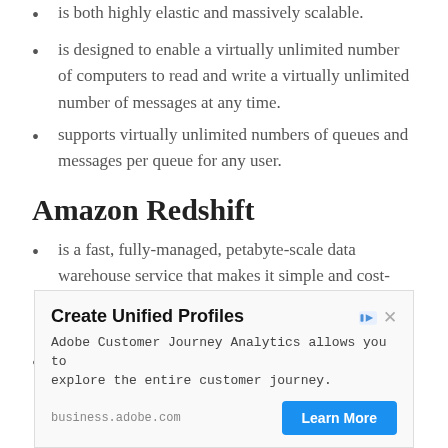is both highly elastic and massively scalable.
is designed to enable a virtually unlimited number of computers to read and write a virtually unlimited number of messages at any time.
supports virtually unlimited numbers of queues and messages per queue for any user.
Amazon Redshift
is a fast, fully-managed, petabyte-scale data warehouse service that makes it simple and cost-effective to efficiently analyze all your data using your existing business intelligence tools.
is optimized for data sets that are tens of...
[Figure (screenshot): Advertisement banner for Adobe Customer Journey Analytics. Title: 'Create Unified Profiles'. Body: 'Adobe Customer Journey Analytics allows you to explore the entire customer journey.' Source: business.adobe.com. CTA button: 'Learn More']